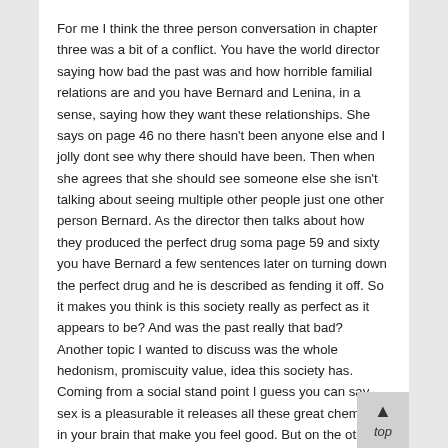For me I think the three person conversation in chapter three was a bit of a conflict. You have the world director saying how bad the past was and how horrible familial relations are and you have Bernard and Lenina, in a sense, saying how they want these relationships. She says on page 46 no there hasn't been anyone else and I jolly dont see why there should have been. Then when she agrees that she should see someone else she isn't talking about seeing multiple other people just one other person Bernard. As the director then talks about how they produced the perfect drug soma page 59 and sixty you have Bernard a few sentences later on turning down the perfect drug and he is described as fending it off. So it makes you think is this society really as perfect as it appears to be? And was the past really that bad? Another topic I wanted to discuss was the whole hedonism, promiscuity value, idea this society has. Coming from a social stand point I guess you can say,  sex is a pleasurable it releases all these great chemicals in your brain that make you feel good. But on the other hand it is